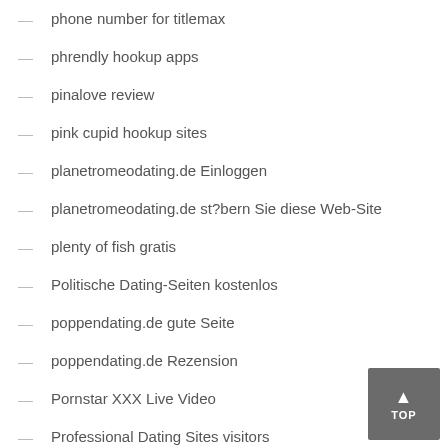phone number for titlemax
phrendly hookup apps
pinalove review
pink cupid hookup sites
planetromeodating.de Einloggen
planetromeodating.de st?bern Sie diese Web-Site
plenty of fish gratis
Politische Dating-Seiten kostenlos
poppendating.de gute Seite
poppendating.de Rezension
Pornstar XXX Live Video
Professional Dating Sites visitors
profile
promo code
promo code for cash central
pros and cons of payday loans